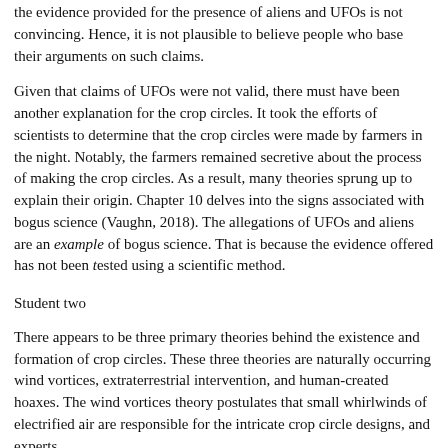the evidence provided for the presence of aliens and UFOs is not convincing. Hence, it is not plausible to believe people who base their arguments on such claims.
Given that claims of UFOs were not valid, there must have been another explanation for the crop circles. It took the efforts of scientists to determine that the crop circles were made by farmers in the night. Notably, the farmers remained secretive about the process of making the crop circles. As a result, many theories sprung up to explain their origin. Chapter 10 delves into the signs associated with bogus science (Vaughn, 2018). The allegations of UFOs and aliens are an example of bogus science. That is because the evidence offered has not been tested using a scientific method.
Student two
There appears to be three primary theories behind the existence and formation of crop circles. These three theories are naturally occurring wind vortices, extraterrestrial intervention, and human-created hoaxes. The wind vortices theory postulates that small whirlwinds of electrified air are responsible for the intricate crop circle designs, and experts